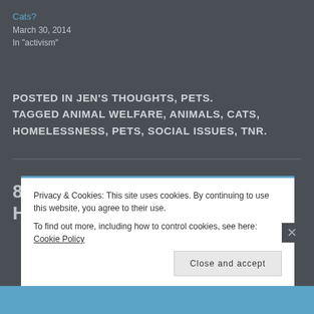Cats?
March 30, 2014
In "activism"
POSTED IN JEN'S THOUGHTS, PETS. TAGGED ANIMAL WELFARE, ANIMALS, CATS, HOMELESSNESS, PETS, SOCIAL ISSUES, TNR.
8 THOUGHTS ON “THE HOMELESS
Privacy & Cookies: This site uses cookies. By continuing to use this website, you agree to their use.
To find out more, including how to control cookies, see here: Cookie Policy
Close and accept